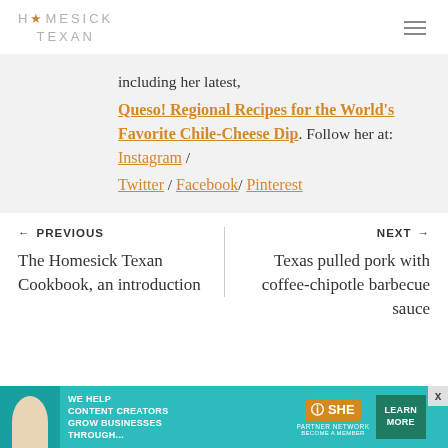HOMESICK TEXAN
including her latest, Queso! Regional Recipes for the World's Favorite Chile-Cheese Dip. Follow her at: Instagram / Twitter / Facebook/ Pinterest
← PREVIOUS
The Homesick Texan Cookbook, an introduction
NEXT →
Texas pulled pork with coffee-chipotle barbecue sauce
[Figure (advertisement): SHE Media partner network advertisement banner with teal background, text 'WE HELP CONTENT CREATORS GROW BUSINESSES THROUGH...', SHE logo, and LEARN MORE button]